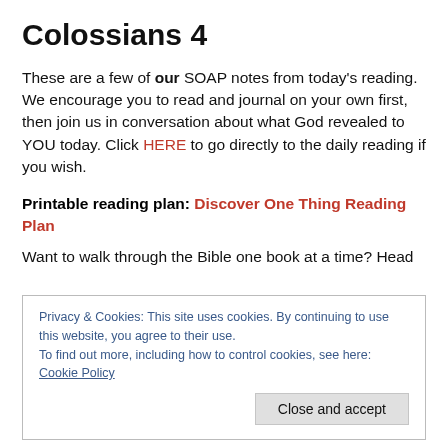Colossians 4
These are a few of our SOAP notes from today’s reading. We encourage you to read and journal on your own first, then join us in conversation about what God revealed to YOU today. Click HERE to go directly to the daily reading if you wish.
Printable reading plan: Discover One Thing Reading Plan
Want to walk through the Bible one book at a time? Head
Privacy & Cookies: This site uses cookies. By continuing to use this website, you agree to their use.
To find out more, including how to control cookies, see here: Cookie Policy